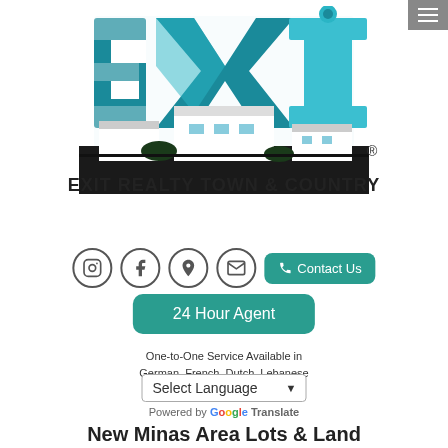[Figure (logo): EXIT Realty Town & Country logo featuring large teal EXIT letters with a house building silhouette below and the text EXIT REALTY TOWN & COUNTRY]
One-to-One Service Available in German, French, Dutch, Lebanese
Select Language
Powered by Google Translate
New Minas Area Lots & Land
Login / Signup